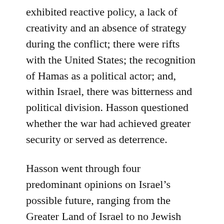exhibited reactive policy, a lack of creativity and an absence of strategy during the conflict; there were rifts with the United States; the recognition of Hamas as a political actor; and, within Israel, there was bitterness and political division. Hasson questioned whether the war had achieved greater security or served as deterrence.
Hasson went through four predominant opinions on Israel’s possible future, ranging from the Greater Land of Israel to no Jewish state. One of the reasons that progress in achieving agreement is hard, he said, is because people approach it with their own “inevitability assumptions” about such things as to where Israel’s borders should lie: for example, the 1967 borders are inevitable because they stem from moral/progress imperatives, or the Greater Land of Israel borders are inevitable because of a divine promise.